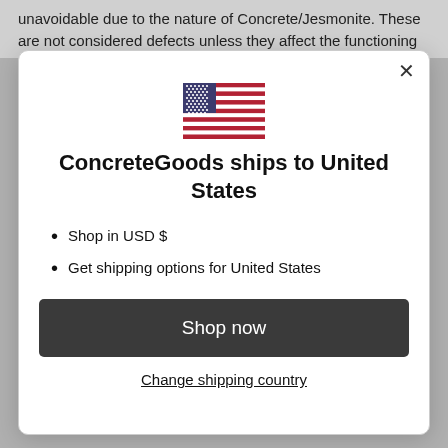unavoidable due to the nature of Concrete/Jesmonite. These are not considered defects unless they affect the functioning of
[Figure (illustration): US flag icon]
ConcreteGoods ships to United States
Shop in USD $
Get shipping options for United States
Shop now
Change shipping country